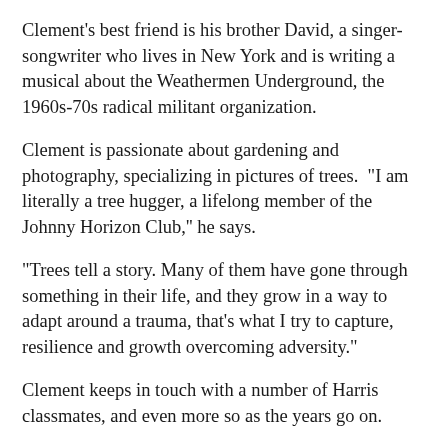Clement's best friend is his brother David, a singer-songwriter who lives in New York and is writing a musical about the Weathermen Underground, the 1960s-70s radical militant organization.
Clement is passionate about gardening and photography, specializing in pictures of trees.  "I am literally a tree hugger, a lifelong member of the Johnny Horizon Club,'' he says.
"Trees tell a story. Many of them have gone through something in their life, and they grow in a way to adapt around a trauma, that's what I try to capture, resilience and growth overcoming adversity."
Clement keeps in touch with a number of Harris classmates, and even more so as the years go on.
"I think there is a magnetism that we had this...